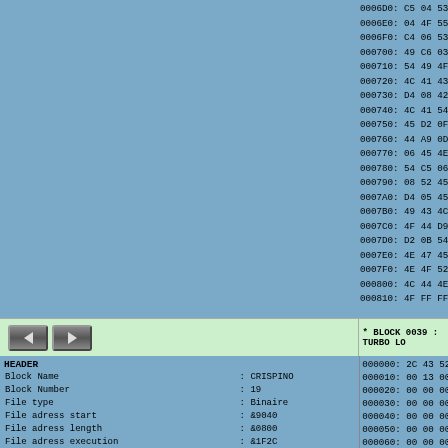Hex dump right column: 0006D0 through 000810 addresses with hex bytes
* BLOCK 0039 : TURBO LO
HEADER
Block Name : CRISPINO
Block Number : 19
File type : Binaire
File adress start : &9040
File adress length : &0800
File adress execution : &1F2C
File length file : &9D3D
Hex dump right column: 000000 through 000070 addresses